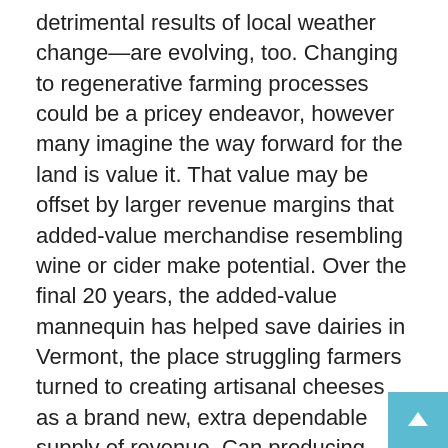detrimental results of local weather change—are evolving, too. Changing to regenerative farming processes could be a pricey endeavor, however many imagine the way forward for the land is value it. That value may be offset by larger revenue margins that added-value merchandise resembling wine or cider make potential. Over the final 20 years, the added-value mannequin has helped save dairies in Vermont, the place struggling farmers turned to creating artisanal cheeses as a brand new, extra dependable supply of revenue. Can producing alcohol be a part of the reply for different struggling farmers eager about regenerative strategies?
At the moment, Ironbound's arduous cider model makes up only one a part of the operations. The farm additionally sells fruits, greens, wild flowers, hen, eggs, heritage turkeys and pork. There's an on-site tasting room and outside grill, to which guests flock on the weekends, particularly throughout these